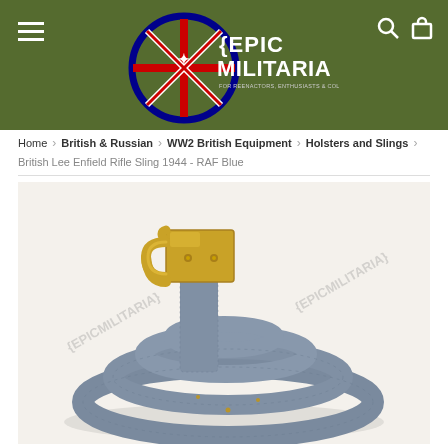[Figure (logo): Epic Militaria logo — circular badge with Union Jack design, text EPIC MILITARIA, FOR REENACTORS, ENTHUSIASTS & COLLECTORS, on olive green header background with hamburger menu icon on left and search/cart icons on right]
Home > British & Russian > WW2 British Equipment > Holsters and Slings
British Lee Enfield Rifle Sling 1944 - RAF Blue
[Figure (photo): Close-up photograph of a rolled British Lee Enfield Rifle Sling in RAF Blue (blue-grey canvas webbing) with a brass metal hook/buckle fitting. The sling is coiled and photographed on a white background. Watermark text {EPICMILITARIA} appears on both sides of the image.]